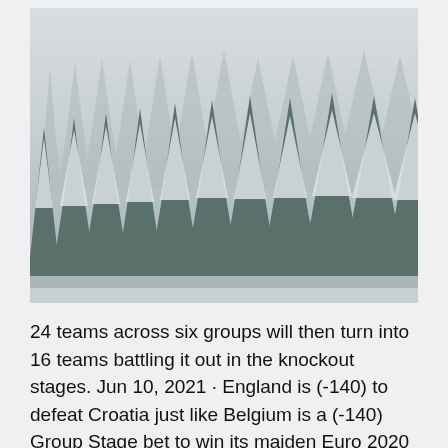[Figure (photo): Snow-covered evergreen trees (conifers) in a dense forest, heavy snowfall or fog in background, black and white / desaturated wintry scene]
24 teams across six groups will then turn into 16 teams battling it out in the knockout stages. Jun 10, 2021 · England is (-140) to defeat Croatia just like Belgium is a (-140) Group Stage bet to win its maiden Euro 2020 match vs Russia. Even though WagerBon is touting Red...